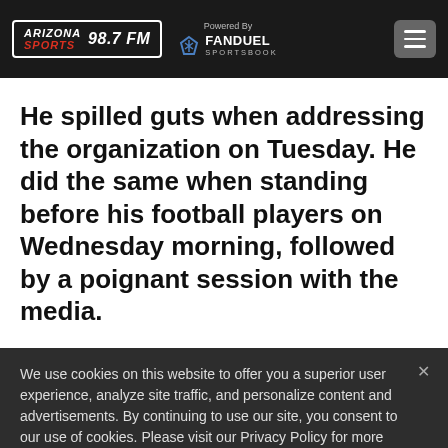Arizona Sports 98.7 FM — Powered By FanDuel Sportsbook
He spilled guts when addressing the organization on Tuesday. He did the same when standing before his football players on Wednesday morning, followed by a poignant session with the media.
We use cookies on this website to offer you a superior user experience, analyze site traffic, and personalize content and advertisements. By continuing to use our site, you consent to our use of cookies. Please visit our Privacy Policy for more information.
Accept Cookies